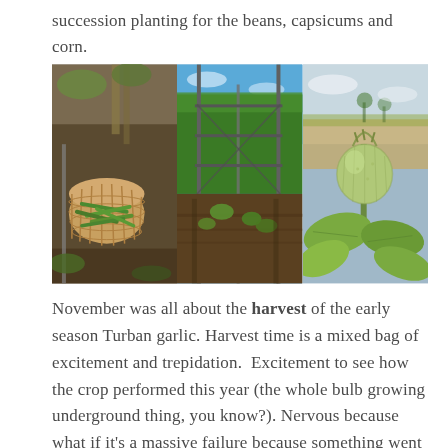succession planting for the beans, capsicums and corn.
[Figure (photo): Three garden photos side by side: left shows a wicker basket filled with green beans on the ground near a garden; center shows a garden bed with trellises and young plants growing in rows; right shows a close-up of a round green fruit or seed pod on a plant with leaves, with an open landscape in the background.]
November was all about the harvest of the early season Turban garlic. Harvest time is a mixed bag of excitement and trepidation.  Excitement to see how the crop performed this year (the whole bulb growing underground thing, you know?). Nervous because what if it's a massive failure because something went wrong and the whole crop